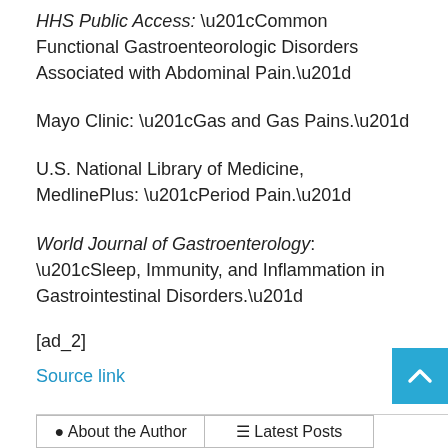HHS Public Access: “Common Functional Gastroenteorologic Disorders Associated with Abdominal Pain.”
Mayo Clinic: “Gas and Gas Pains.”
U.S. National Library of Medicine, MedlinePlus: “Period Pain.”
World Journal of Gastroenterology: “Sleep, Immunity, and Inflammation in Gastrointestinal Disorders.”
[ad_2]
Source link
| About the Author | Latest Posts |
| --- | --- |